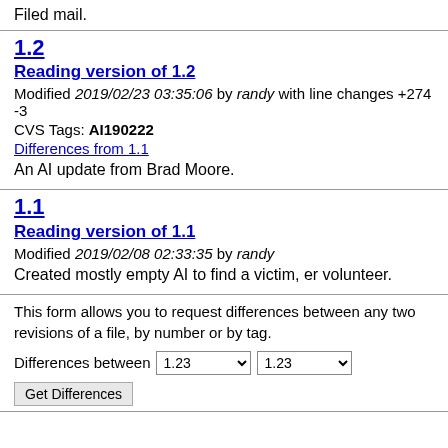Filed mail.
1.2
Reading version of 1.2
Modified 2019/02/23 03:35:06 by randy with line changes +274 -3
CVS Tags: AI190222
Differences from 1.1
An AI update from Brad Moore.
1.1
Reading version of 1.1
Modified 2019/02/08 02:33:35 by randy
Created mostly empty AI to find a victim, er volunteer.
This form allows you to request differences between any two revisions of a file, by number or by tag.
Differences between 1.23 1.23
Get Differences